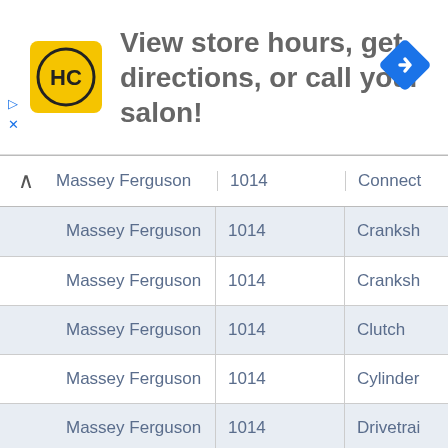[Figure (infographic): Advertisement banner: HC logo on yellow background, text 'View store hours, get directions, or call your salon!', blue navigation diamond icon on right]
|  | Massey Ferguson | 1014 | Connect |
| --- | --- | --- | --- |
| Massey Ferguson | 1014 | Cranksh |
| Massey Ferguson | 1014 | Cranksh |
| Massey Ferguson | 1014 | Clutch |
| Massey Ferguson | 1014 | Cylinder |
| Massey Ferguson | 1014 | Drivetrai |
| Massey Ferguson | 1014 | Engine |
| Massey Ferguson | 1014 | Gearbox |
| Massey Ferguson | 1014 | Transmi |
Massey Ferguson 1080
| Make | Model | Part |
| --- | --- | --- |
| Massey Ferguson | 1080 | Antiroll-b |